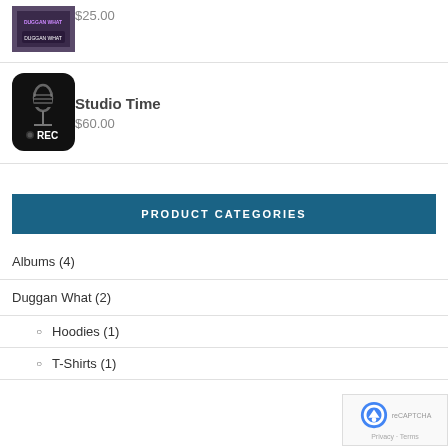[Figure (photo): Product image showing a hoodie with Duggan What branding]
$25.00
Studio Time
[Figure (illustration): Black rounded square icon with a microphone and REC label]
$60.00
PRODUCT CATEGORIES
Albums (4)
Duggan What (2)
Hoodies (1)
T-Shirts (1)